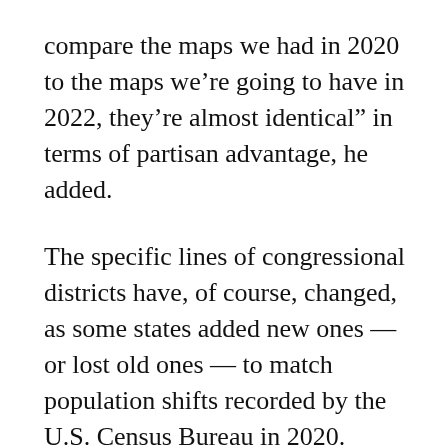compare the maps we had in 2020 to the maps we’re going to have in 2022, they’re almost identical” in terms of partisan advantage, he added.
The specific lines of congressional districts have, of course, changed, as some states added new ones — or lost old ones — to match population shifts recorded by the U.S. Census Bureau in 2020.
Redistricting is the once-a-decade adjustment of legislative lines to match the Census’ findings. It is typically an extraordinarily